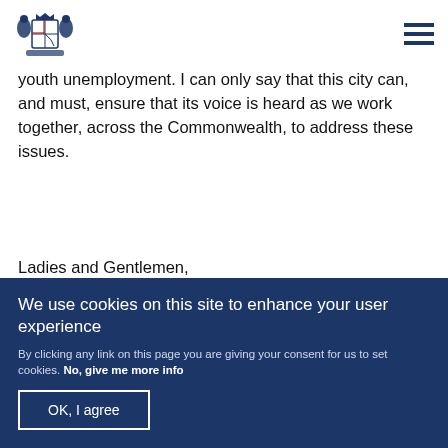[Figure (logo): UK Royal coat of arms logo in dark navy blue]
youth unemployment.  I can only say that this city can, and must, ensure that its voice is heard as we work together, across the Commonwealth, to address these issues.
Ladies and Gentlemen,
We use cookies on this site to enhance your user experience
By clicking any link on this page you are giving your consent for us to set cookies. No, give me more info
OK, I agree